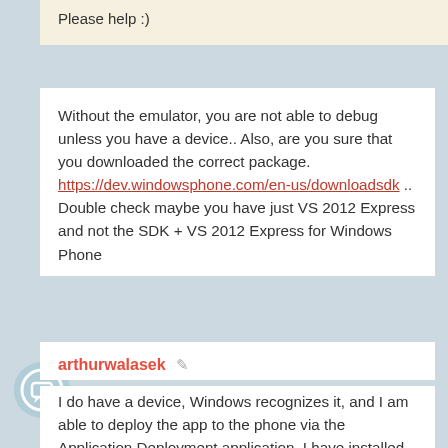Please help :)
Without the emulator, you are not able to debug unless you have a device.. Also, are you sure that you downloaded the correct package. https://dev.windowsphone.com/en-us/downloadsdk .. Double check maybe you have just VS 2012 Express and not the SDK + VS 2012 Express for Windows Phone
07-18-2013 01:43 PM
arthurwalasek
I do have a device, Windows recognizes it, and I am able to deploy the app to the phone via the Application Deployment application. I have installed the correct version of the Visual Studio, it even gave me the warning while installing that it could